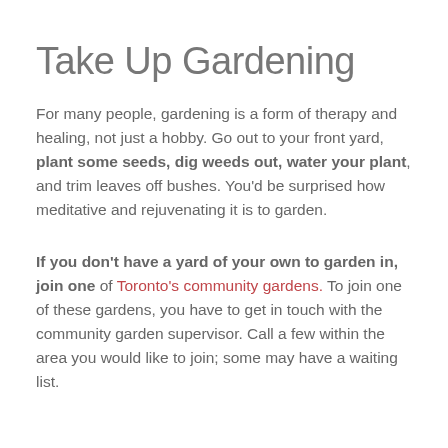Take Up Gardening
For many people, gardening is a form of therapy and healing, not just a hobby. Go out to your front yard, plant some seeds, dig weeds out, water your plant, and trim leaves off bushes. You'd be surprised how meditative and rejuvenating it is to garden.
If you don't have a yard of your own to garden in, join one of Toronto's community gardens. To join one of these gardens, you have to get in touch with the community garden supervisor. Call a few within the area you would like to join; some may have a waiting list.